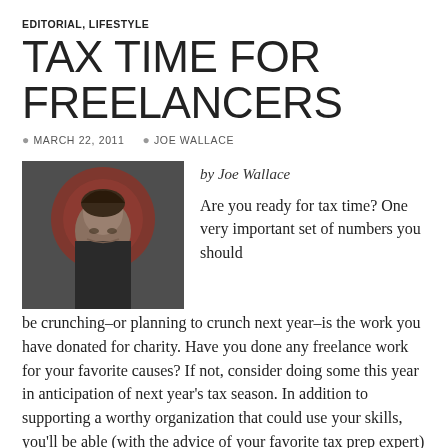EDITORIAL, LIFESTYLE
TAX TIME FOR FREELANCERS
MARCH 22, 2011   JOE WALLACE
[Figure (photo): Portrait photo of Joe Wallace, a man with curly dark hair and glasses, in front of a red circular background]
by Joe Wallace

Are you ready for tax time? One very important set of numbers you should be crunching–or planning to crunch next year–is the work you have donated for charity. Have you done any freelance work for your favorite causes? If not, consider doing some this year in anticipation of next year's tax season. In addition to supporting a worthy organization that could use your skills, you'll be able (with the advice of your favorite tax prep expert) take the allowable deductions in the appropriate manner.